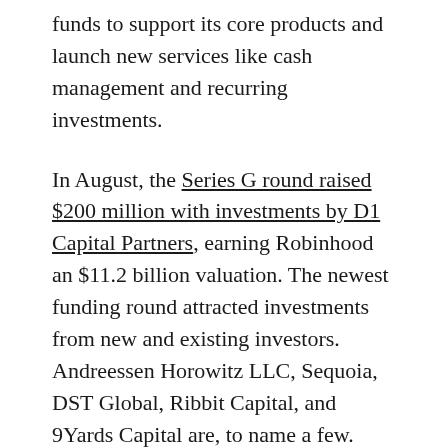funds to support its core products and launch new services like cash management and recurring investments.
In August, the Series G round raised $200 million with investments by D1 Capital Partners, earning Robinhood an $11.2 billion valuation. The newest funding round attracted investments from new and existing investors. Andreessen Horowitz LLC, Sequoia, DST Global, Ribbit Capital, and 9Yards Capital are, to name a few.
Fintech services this year are experiencing a significant breakthrough in the stock exchange industry. Hence, Robinhood reached a peak in total